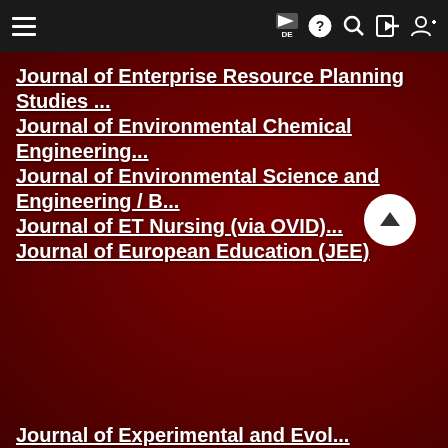Navigation bar with hamburger menu, flag/DE, help, search, login, register icons
Journal of Enterprise Resource Planning Studies ...
Journal of Environmental Chemical Engineering...
Journal of Environmental Science and Engineering / B...
Journal of ET Nursing (via OVID)...
Journal of European Education (JEE)
Journal of Experimental and Evol...